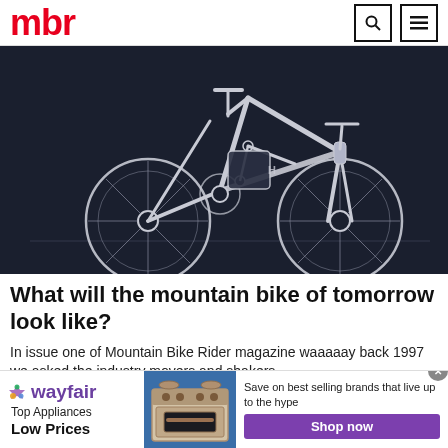mbr
[Figure (illustration): Technical line-drawing illustration of a full-suspension mountain bike on a dark navy/charcoal background, shown in profile view from the right side]
What will the mountain bike of tomorrow look like?
In issue one of Mountain Bike Rider magazine waaaaay back 1997 we asked the industry movers and shakers …
MBR
[Figure (infographic): Wayfair advertisement banner: Wayfair logo on left, 'Top Appliances Low Prices' text, photo of kitchen range/stove appliance in center, 'Save on best selling brands that live up to the hype' text and purple 'Shop now' button on right]